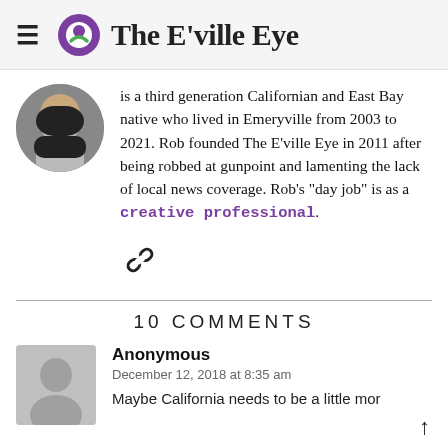The E'ville Eye
is a third generation Californian and East Bay native who lived in Emeryville from 2003 to 2021. Rob founded The E'ville Eye in 2011 after being robbed at gunpoint and lamenting the lack of local news coverage. Rob's "day job" is as a creative professional.
[Figure (other): Link/chain icon]
10 COMMENTS
Anonymous
December 12, 2018 at 8:35 am
Maybe California needs to be a little mor...